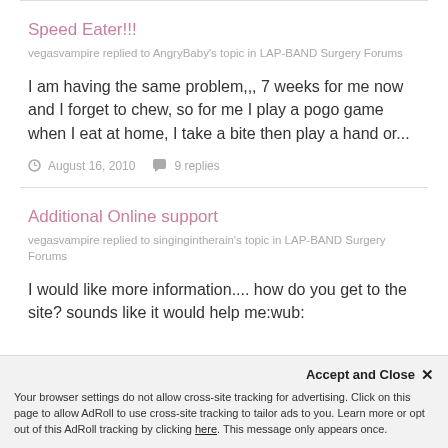Speed Eater!!!
vegasvampire replied to AngryBaby's topic in LAP-BAND Surgery Forums
I am having the same problem,,, 7 weeks for me now and I forget to chew, so for me I play a pogo game when I eat at home, I take a bite then play a hand or...
August 16, 2010   9 replies
Additional Online support
vegasvampire replied to singingintherain's topic in LAP-BAND Surgery Forums
I would like more information.... how do you get to the site? sounds like it would help me:wub:
Accept and Close ✕
Your browser settings do not allow cross-site tracking for advertising. Click on this page to allow AdRoll to use cross-site tracking to tailor ads to you. Learn more or opt out of this AdRoll tracking by clicking here. This message only appears once.